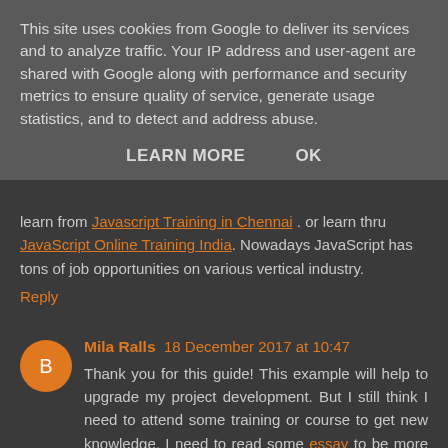This site uses cookies from Google to deliver its services and to analyze traffic. Your IP address and user-agent are shared with Google along with performance and security metrics to ensure quality of service, generate usage statistics, and to detect and address abuse.
LEARN MORE    OK
learn from Javascript Training in Chennai . or learn thru JavaScript Online Training India. Nowadays JavaScript has tons of job opportunities on various vertical industry.
Reply
Mila Ralls 18 December 2017 at 10:47
Thank you for this guide! This example will help to upgrade my project development. But I still think I need to attend some training or course to get new knowledge. I need to read some essay to be more aware. But anyway thank you for your impact. I think this could be used on different stages of my work.
Reply